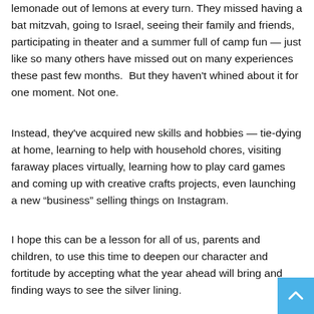lemonade out of lemons at every turn. They missed having a bat mitzvah, going to Israel, seeing their family and friends, participating in theater and a summer full of camp fun — just like so many others have missed out on many experiences these past few months.  But they haven't whined about it for one moment. Not one.
Instead, they've acquired new skills and hobbies — tie-dying at home, learning to help with household chores, visiting faraway places virtually, learning how to play card games and coming up with creative crafts projects, even launching a new “business” selling things on Instagram.
I hope this can be a lesson for all of us, parents and children, to use this time to deepen our character and fortitude by accepting what the year ahead will bring and finding ways to see the silver lining.